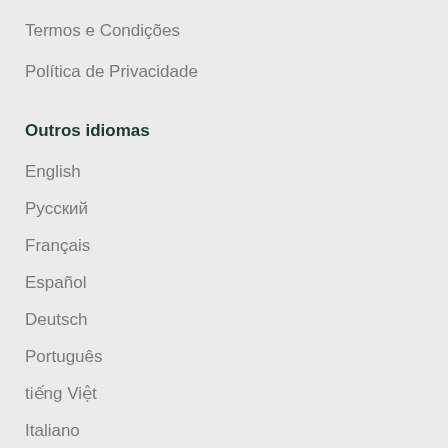Termos e Condições
Política de Privacidade
Outros idiomas
English
Русский
Français
Español
Deutsch
Português
tiếng Việt
Italiano
⏺⏺⏺
⏺⏺⏺⏺